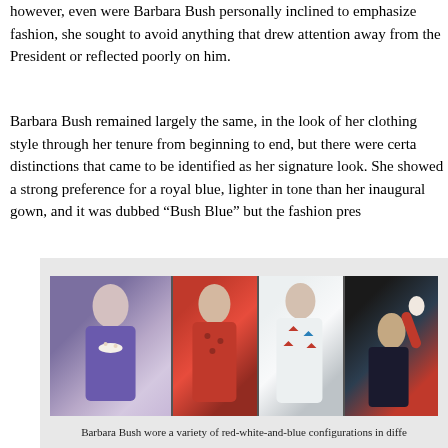however, even were Barbara Bush personally inclined to emphasize fashion, she sought to avoid anything that drew attention away from the President or reflected poorly on him.
Barbara Bush remained largely the same, in the look of her clothing style through her tenure from beginning to end, but there were certain distinctions that came to be identified as her signature look. She showed a strong preference for a royal blue, lighter in tone than her inaugural gown, and it was dubbed “Bush Blue” but the fashion pres
[Figure (photo): A collage of four photographs of Barbara Bush wearing different outfits: blue dress with pearls, red patterned dress, white outfit with patriotic stars, and dark patriotic outfit while waving.]
Barbara Bush wore a variety of red-white-and-blue configurations in diffe